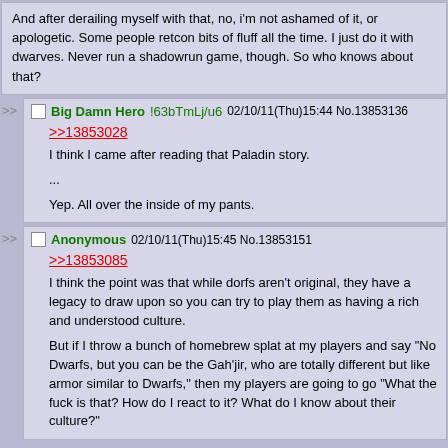And after derailing myself with that, no, i'm not ashamed of it, or apologetic. Some people retcon bits of fluff all the time. I just do it with dwarves. Never run a shadowrun game, though. So who knows about that?
Big Damn Hero !63bTmLj/u6 02/10/11(Thu)15:44 No.13853136
>>13853028
I think I came after reading that Paladin story.
...
Yep. All over the inside of my pants.
Anonymous 02/10/11(Thu)15:45 No.13853151
>>13853085
I think the point was that while dorfs aren't original, they have a legacy to draw upon so you can try to play them as having a rich and understood culture.

But if I throw a bunch of homebrew splat at my players and say "No Dwarfs, but you can be the Gah'jir, who are totally different but like armor similar to Dwarfs," then my players are going to go "What the fuck is that? How do I react to it? What do I know about their culture?"